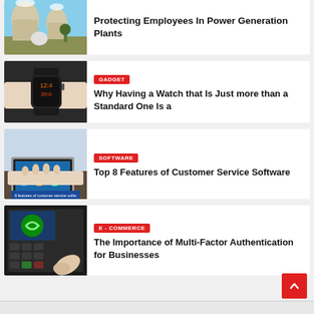[Figure (photo): Nuclear power plant with cooling towers]
Protecting Employees In Power Generation Plants
[Figure (photo): Smartwatch on a wrist]
GADGET
Why Having a Watch that Is Just more than a Standard One Is a
[Figure (photo): Hands on laptop keyboard with software dashboard overlay]
SOFTWARE
Top 8 Features of Customer Service Software
[Figure (photo): Fingerprint scanner biometric device]
E - COMMERCE
The Importance of Multi-Factor Authentication for Businesses